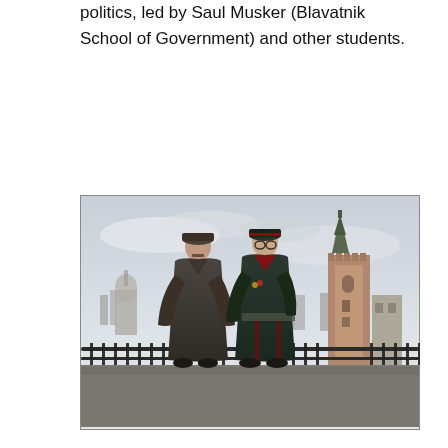politics, led by Saul Musker (Blavatnik School of Government) and other students.
[Figure (photo): Historical painting depicting two Soviet military/political figures in long coats standing on a terrace or balcony with a panoramic view of Moscow including the Kremlin tower in the background.]